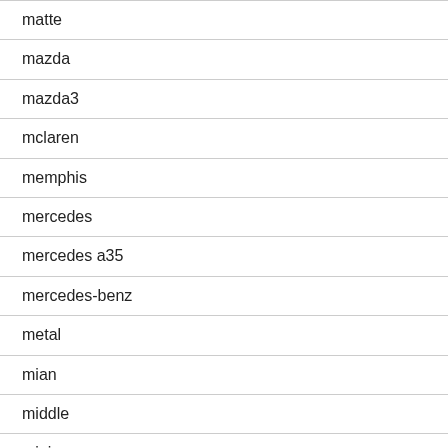matte
mazda
mazda3
mclaren
memphis
mercedes
mercedes a35
mercedes-benz
metal
mian
middle
mini
mirrors